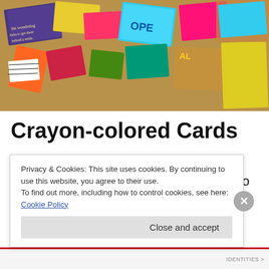[Figure (photo): A colorful collage of greeting cards spread out on a surface, showing various colors including pink, blue, yellow, green, red, and purple cards with handwritten messages and decorative elements.]
Crayon-colored Cards
I hate greeting cards. As a boy I considered them merely speed bumps to the present. I never cared what Aunt
Privacy & Cookies: This site uses cookies. By continuing to use this website, you agree to their use.
To find out more, including how to control cookies, see here: Cookie Policy
Close and accept